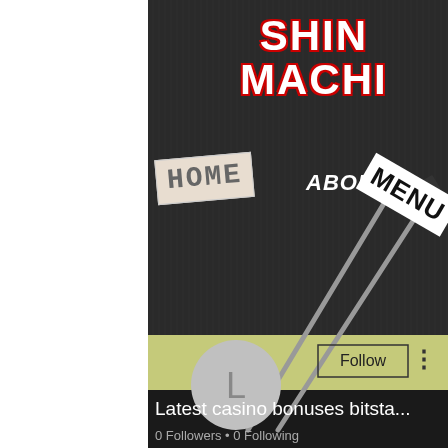[Figure (screenshot): Screenshot of a website called Shin Machi with HOME, ABOUT, MENU navigation labels on a dark vertical-lined background with chopsticks, and a social media profile section below showing 'Latest casino bonuses bitsta...' with 0 Followers and 0 Following]
SHIN MACHI
HOME
ABOUT
MENU
Latest casino bonuses bitsta...
0 Followers • 0 Following